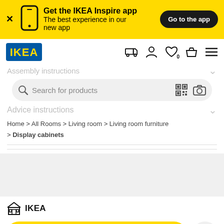[Figure (screenshot): IKEA app promotional banner in yellow with phone icon, text 'Get the IKEA Inspire app - The best experience in our new app', and a 'Go to the app' button]
[Figure (logo): IKEA logo - blue rectangle with yellow IKEA text]
Assembly instructions
Search for products
Advice instructions
Home > All Rooms > Living room > Living room furniture > Display cabinets
IKEA
Add to cart